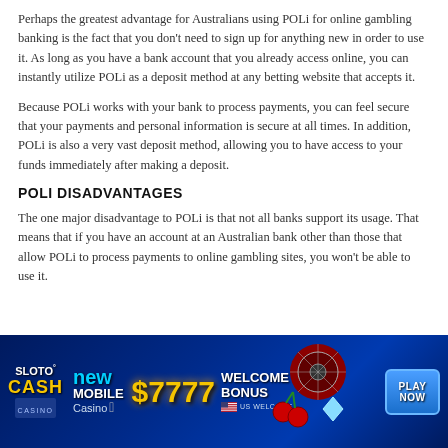Perhaps the greatest advantage for Australians using POLi for online gambling banking is the fact that you don't need to sign up for anything new in order to use it. As long as you have a bank account that you already access online, you can instantly utilize POLi as a deposit method at any betting website that accepts it.
Because POLi works with your bank to process payments, you can feel secure that your payments and personal information is secure at all times. In addition, POLi is also a very vast deposit method, allowing you to have access to your funds immediately after making a deposit.
POLI DISADVANTAGES
The one major disadvantage to POLi is that not all banks support its usage. That means that if you have an account at an Australian bank other than those that allow POLi to process payments to online gambling sites, you won't be able to use it.
[Figure (infographic): SlotoCash Casino advertisement banner. Dark blue background with text: SLOTO CASH CASINO, new MOBILE Casino (with Apple logo), $7777 WELCOME BONUS, US WELCOME, and a PLAY NOW button. Decorative casino imagery including roulette wheel, cherries, diamonds.]